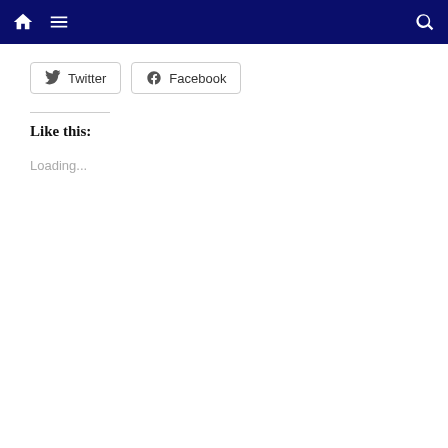Navigation bar with home icon, menu icon, and search icon
[Figure (other): Twitter and Facebook share buttons]
Like this:
Loading...